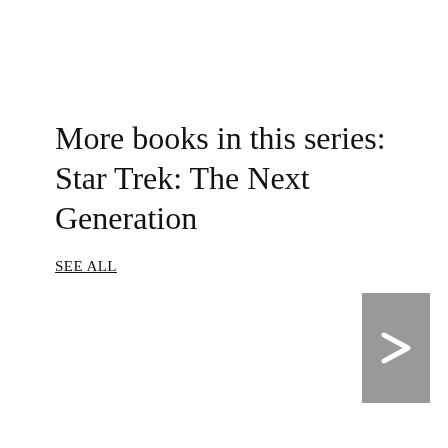More books in this series: Star Trek: The Next Generation
SEE ALL